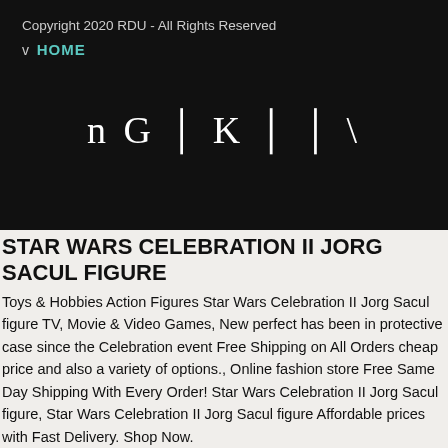Copyright 2020 RDU - All Rights Reserved
v  HOME
[Figure (logo): Logo text with special characters: n G │ K │ │ \]
STAR WARS CELEBRATION II JORG SACUL FIGURE
Toys & Hobbies Action Figures Star Wars Celebration II Jorg Sacul figure TV, Movie & Video Games, New perfect has been in protective case since the Celebration event Free Shipping on All Orders cheap price and also a variety of options., Online fashion store Free Same Day Shipping With Every Order! Star Wars Celebration II Jorg Sacul figure, Star Wars Celebration II Jorg Sacul figure Affordable prices with Fast Delivery. Shop Now.